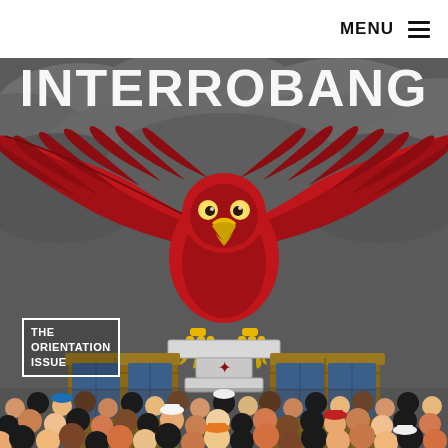MENU
[Figure (illustration): Magazine cover illustration of 'Interrobang' publication — The Orientation Issue. Features a large red hawk/phoenix mascot with wide-spread wings perched on a podium/lectern with a university emblem. The background shows a stormy grey sky. In the lower portion, a diverse crowd of students is shown from behind, facing the mascot. The text 'THE ORIENTATION ISSUE' appears in a bordered box in the lower-left of the illustration.]
THE ORIENTATION ISSUE